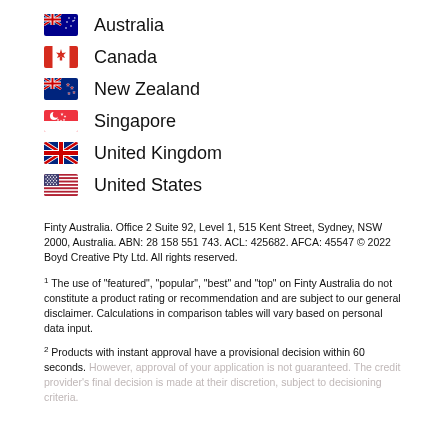Australia
Canada
New Zealand
Singapore
United Kingdom
United States
Finty Australia. Office 2 Suite 92, Level 1, 515 Kent Street, Sydney, NSW 2000, Australia. ABN: 28 158 551 743. ACL: 425682. AFCA: 45547 © 2022 Boyd Creative Pty Ltd. All rights reserved.
1 The use of "featured", "popular", "best" and "top" on Finty Australia do not constitute a product rating or recommendation and are subject to our general disclaimer. Calculations in comparison tables will vary based on personal data input.
2 Products with instant approval have a provisional decision within 60 seconds. However, approval of your application is not guaranteed. The credit provider's final decision is made at their discretion, subject to decisioning criteria.